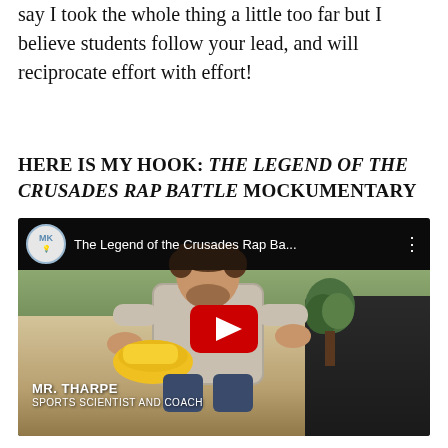say I took the whole thing a little too far but I believe students follow your lead, and will reciprocate effort with effort!
HERE IS MY HOOK: THE LEGEND OF THE CRUSADES RAP BATTLE MOCKUMENTARY
[Figure (screenshot): YouTube video thumbnail showing a man sitting on a couch holding a yellow shoe, with the video title 'The Legend of the Crusades Rap Ba...' and a play button. Lower caption reads 'MR. THARPE / SPORTS SCIENTIST AND COACH'.]